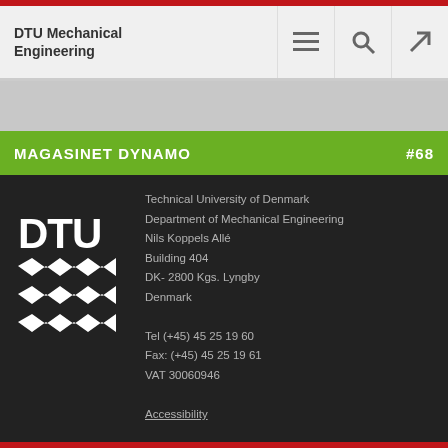DTU Mechanical Engineering
MAGASINET DYNAMO #68
[Figure (logo): DTU logo with wave/diamond shapes in white on dark background]
Technical University of Denmark
Department of Mechanical Engineering
Nils Koppels Allé
Building 404
DK- 2800 Kgs. Lyngby
Denmark

Tel (+45) 45 25 19 60
Fax: (+45) 45 25 19 61
VAT 30060946

Accessibility
FOLLOW US ON